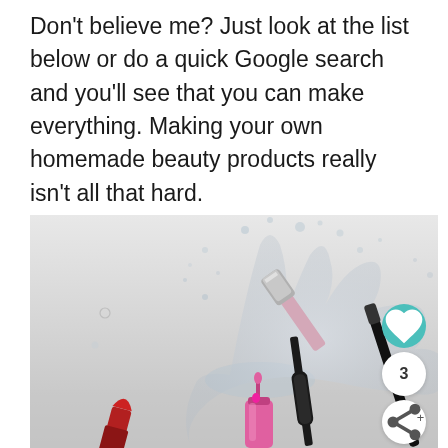Don’t believe me? Just look at the list below or do a quick Google search and you’ll see that you can make everything. Making your own homemade beauty products really isn’t all that hard.
[Figure (photo): Beauty products including lipstick, pink lip gloss, mascara wand, and a makeup brush against a water splash background on a light grey surface.]